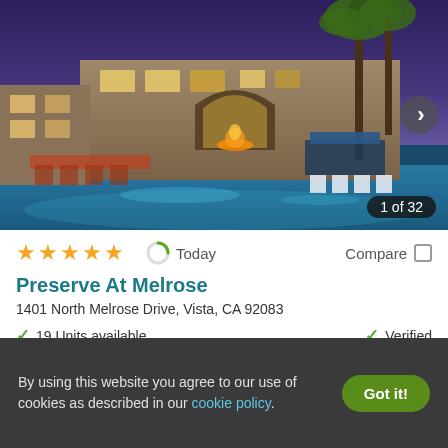[Figure (photo): Nighttime photo of a luxury apartment complex with pool, palm trees, illuminated arched entrance, lounge chairs, and cabanas under a purple sky. Shows '1 of 32' photo counter and right arrow navigation.]
★★★★★ Today Compare □
Preserve At Melrose
1401 North Melrose Drive, Vista, CA 92083
✓ 19 Units available    ✓ Verified
1 BED
$2,569+
By using this website you agree to our use of cookies as described in our cookie policy.